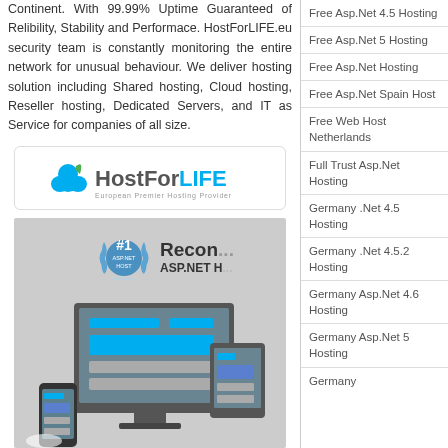Continent. With 99.99% Uptime Guaranteed of Relibility, Stability and Performace. HostForLIFE.eu security team is constantly monitoring the entire network for unusual behaviour. We deliver hosting solution including Shared hosting, Cloud hosting, Reseller hosting, Dedicated Servers, and IT as Service for companies of all size.
Free Asp.Net 4.5 Hosting
Free Asp.Net 5 Hosting
Free Asp.Net Hosting
Free Asp.Net Spain Host
Free Web Host Netherlands
Full Trust Asp.Net Hosting
Germany .Net 4.5 Hosting
Germany .Net 4.5.2 Hosting
Germany Asp.Net 4.6 Hosting
Germany Asp.Net 5 Hosting
Germany
[Figure (logo): HostForLIFE logo with cloud icon and text 'European Premier Hosting Provider']
[Figure (infographic): Award badge #1 ASP.NET HOST with laurel wreath and 'Recommended ASP.NET Hosting' text, plus devices illustration (monitor, tablet, phone)]